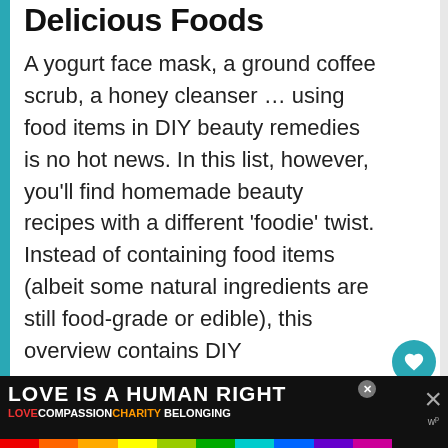Delicious Foods
A yogurt face mask, a ground coffee scrub, a honey cleanser … using food items in DIY beauty remedies is no hot news. In this list, however, you'll find homemade beauty recipes with a different 'foodie' twist. Instead of containing food items (albeit some natural ingredients are still food-grade or edible), this overview contains DIY …
[Figure (other): Advertisement banner: 'LOVE IS A HUMAN RIGHT' with rainbow color strip and subtext 'LOVECOMPASSIONCHARITYBELONGING']